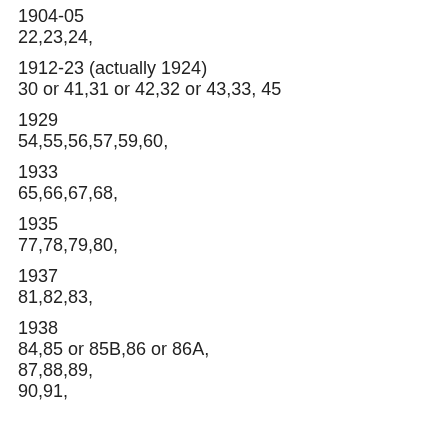1904-05
22,23,24,
1912-23 (actually 1924)
30 or 41,31 or 42,32 or 43,33, 45
1929
54,55,56,57,59,60,
1933
65,66,67,68,
1935
77,78,79,80,
1937
81,82,83,
1938
84,85 or 85B,86 or 86A,
87,88,89,
90,91,